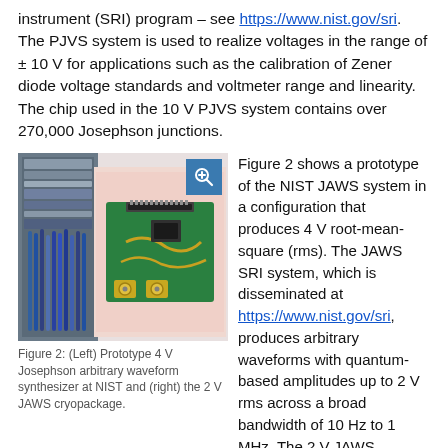instrument (SRI) program – see https://www.nist.gov/sri. The PJVS system is used to realize voltages in the range of ± 10 V for applications such as the calibration of Zener diode voltage standards and voltmeter range and linearity. The chip used in the 10 V PJVS system contains over 270,000 Josephson junctions.
[Figure (photo): Left: Prototype 4 V Josephson arbitrary waveform synthesizer at NIST (equipment rack with electronics). Right: the 2 V JAWS cryopackage (green PCB circuit board with gold SMA connectors).]
Figure 2: (Left) Prototype 4 V Josephson arbitrary waveform synthesizer at NIST and (right) the 2 V JAWS cryopackage.
Figure 2 shows a prototype of the NIST JAWS system in a configuration that produces 4 V root-mean-square (rms). The JAWS SRI system, which is disseminated at https://www.nist.gov/sri, produces arbitrary waveforms with quantum-based amplitudes up to 2 V rms across a broad bandwidth of 10 Hz to 1 MHz. The 2 V JAWS